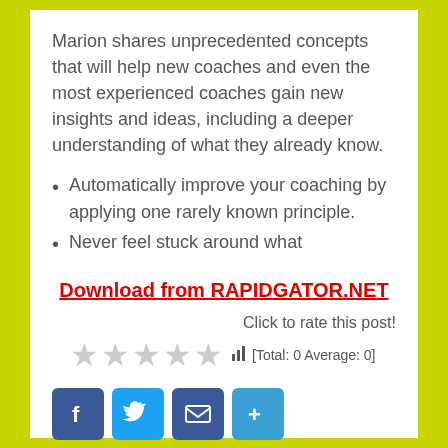Marion shares unprecedented concepts that will help new coaches and even the most experienced coaches gain new insights and ideas, including a deeper understanding of what they already know.
Automatically improve your coaching by applying one rarely known principle.
Never feel stuck around what
Download from RAPIDGATOR.NET
Click to rate this post!
[Total: 0 Average: 0]